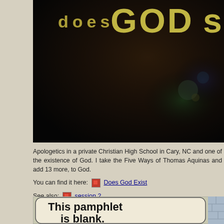[Figure (photo): Dark atmospheric image with large text reading 'does GOD' in yellow/gold stylized letters against a dark cosmic background]
Apologetics in a private Christian High School in Cary, NC and one of the existence of God. I take the Five Ways of Thomas Aquinas and add 13 more, to God.
You can find it here: [icon] Does God Exist
See also: [icon] session 2
The arguments move in degree from inquiring if the so-called atheist might ac considering theism or actually able and willing to consider Christian theism.
One of the arguments in the middle is an argument from Religion, itself. I arg atheistic culture in human history – anywhere . . . anytime. I am using "atheism who do not believe in any kind of spiritual reality or accountability. That they are kind that think matter is all there is – not the greedy king that just want the bling.
[Figure (illustration): Comic strip panel showing speech bubble text 'This pamphlet is blank.' with a cartoon character visible on the right side]